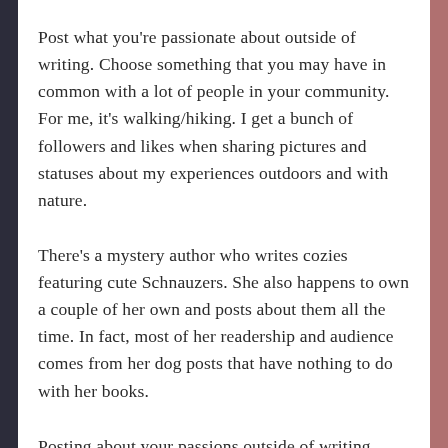Post what you're passionate about outside of writing. Choose something that you may have in common with a lot of people in your community. For me, it's walking/hiking. I get a bunch of followers and likes when sharing pictures and statuses about my experiences outdoors and with nature.
There's a mystery author who writes cozies featuring cute Schnauzers. She also happens to own a couple of her own and posts about them all the time. In fact, most of her readership and audience comes from her dog posts that have nothing to do with her books.
Posting about your passions outside of writing